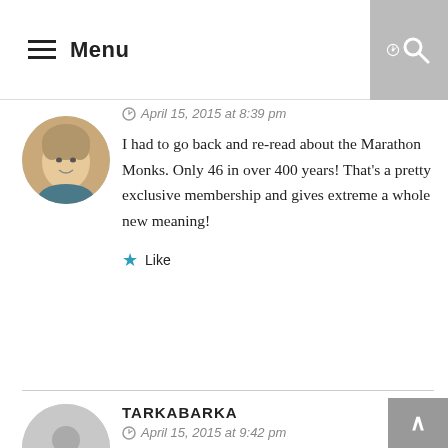≡ Menu
April 15, 2015 at 8:39 pm
I had to go back and re-read about the Marathon Monks. Only 46 in over 400 years! That's a pretty exclusive membership and gives extreme a whole new meaning!
★ Like
TARKABARKA
April 15, 2015 at 9:42 pm
Wow! I love mountains, and definitely want to live in a place that has them. And I love the fire symbols in the dark! And also the concept behind